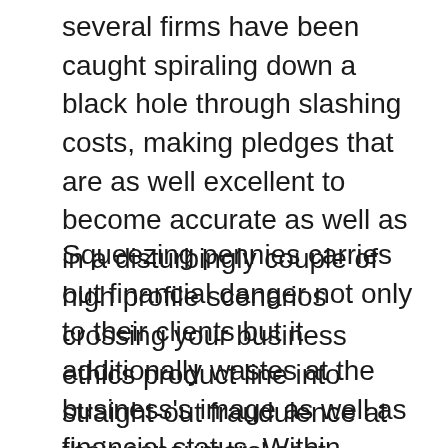several firms have been caught spiraling down a black hole through slashing costs, making pledges that are as well excellent to become accurate as well as in a disturbingly couple of high profile scenarios crossing your business ethics product line into straight-out fraudulence at their consumers' cost.
Squeezing pennies carries out financial danger not only to their clients but it additionally wastes at the business's image as well as financial status. Within recent many years, 8 leading gold suppliers have stated personal bankruptcy or have been outright turned off due to the CFTC, leaving their clients out in the chilly for numerous bucks and also locking up their gold and silvors in badly long as well as expensive